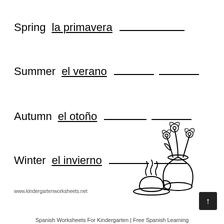Spring   la primavera  _______________
Summer  el verano  __________  __________
Autumn  el otoño  __________  __________
Winter  el invierno  __________  __________
[Figure (illustration): Black and white line drawing of a teacup on a saucer with steam rising, and a vase with flowers behind it]
www.kindergartenworksheets.net
Spanish Worksheets For Kindergarten | Free Spanish Learning